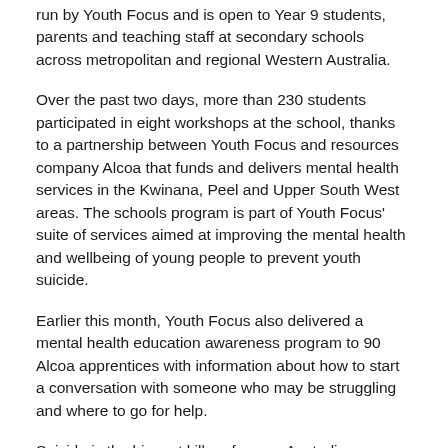run by Youth Focus and is open to Year 9 students, parents and teaching staff at secondary schools across metropolitan and regional Western Australia.
Over the past two days, more than 230 students participated in eight workshops at the school, thanks to a partnership between Youth Focus and resources company Alcoa that funds and delivers mental health services in the Kwinana, Peel and Upper South West areas. The schools program is part of Youth Focus' suite of services aimed at improving the mental health and wellbeing of young people to prevent youth suicide.
Earlier this month, Youth Focus also delivered a mental health education awareness program to 90 Alcoa apprentices with information about how to start a conversation with someone who may be struggling and where to go for help.
Suicide is the biggest killer of young Australians. Latest Australian Bureau of Statistics data shows 49 young people aged between 15 and 24 took their own lives in WA in 2019.
Youth Focus Chief Executive Officer Arthur Papakotsias said one in four young people in Australia lived with a mental ill health, so early